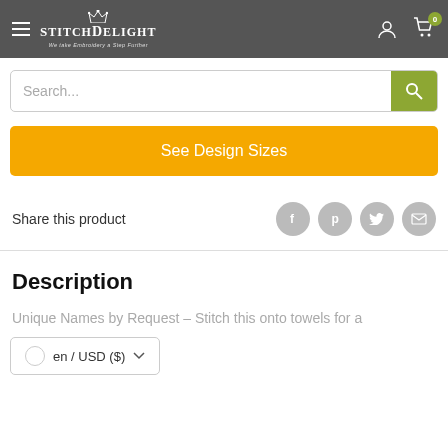StitchDelight – We take Embroidery a Step Further
Search...
See Design Sizes
Share this product
Description
Unique Names by Request - Stitch this onto towels for a
en / USD ($)